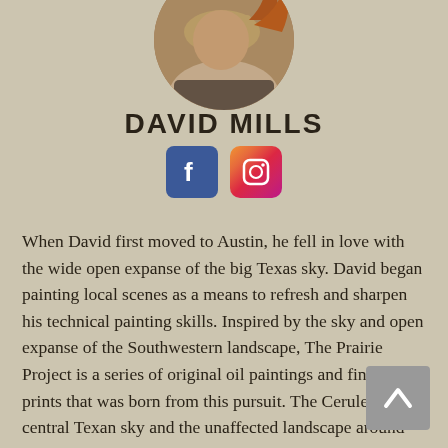[Figure (photo): Circular cropped portrait photo of David Mills, an artist, showing head and upper body]
DAVID MILLS
[Figure (logo): Facebook and Instagram social media icons side by side]
When David first moved to Austin, he fell in love with the wide open expanse of the big Texas sky.  David began painting local scenes as a means to refresh and sharpen his technical painting skills. Inspired by the sky and open expanse of the Southwestern landscape, The Prairie Project is a series of original oil paintings and fine art prints that was born from this pursuit.  The Cerulean Blue central Texan sky and the unaffected landscape around Austin became the subject of this new series. His paintings capture the simple essence of the American rural experience and the simpler but not